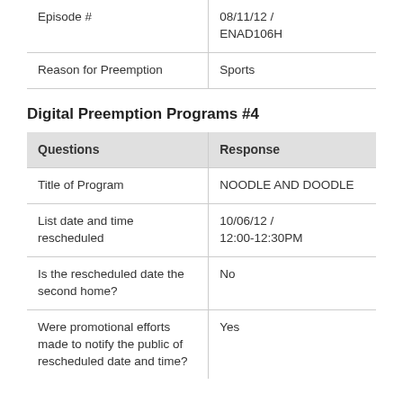| Questions | Response |
| --- | --- |
| Episode # | 08/11/12 / ENAD106H |
| Reason for Preemption | Sports |
Digital Preemption Programs #4
| Questions | Response |
| --- | --- |
| Title of Program | NOODLE AND DOODLE |
| List date and time rescheduled | 10/06/12 / 12:00-12:30PM |
| Is the rescheduled date the second home? | No |
| Were promotional efforts made to notify the public of rescheduled date and time? | Yes |